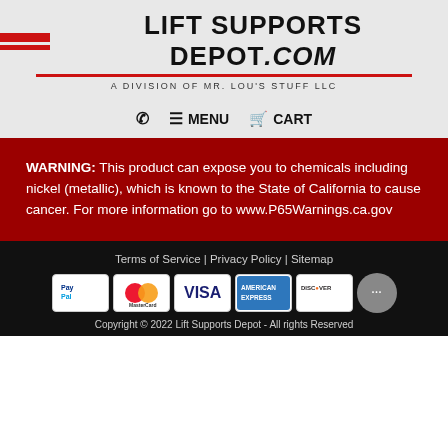[Figure (logo): Lift Supports Depot.com logo with red horizontal bars and underline, subtitle: A Division of Mr. Lou's Stuff LLC]
☎  ☰ MENU  🛒 CART
WARNING: This product can expose you to chemicals including nickel (metallic), which is known to the State of California to cause cancer. For more information go to www.P65Warnings.ca.gov
Terms of Service | Privacy Policy | Sitemap
Copyright © 2022 Lift Supports Depot - All rights Reserved